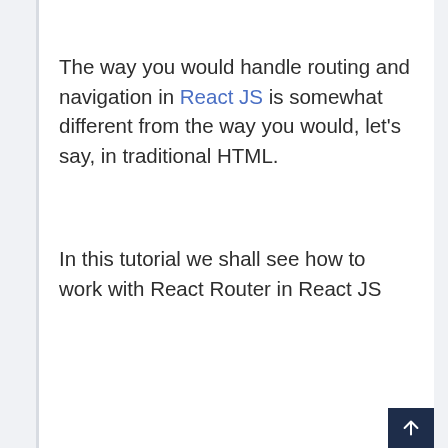The way you would handle routing and navigation in React JS is somewhat different from the way you would, let's say, in traditional HTML.
In this tutorial we shall see how to work with React Router in React JS